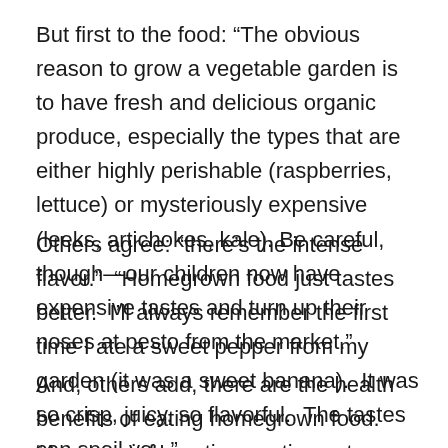But first to the food: “The obvious reason to grow a vegetable garden is to have fresh and delicious organic produce, especially the types that are either highly perishable (raspberries, lettuce) or mysteriously expensive (leeks, artichokes, kale). Be careful, though—our children now have expensive tastes and turn up their noses at pesto from the market.”
Others agree: “there’s the intense flavor.”  “Homegrown food just tastes better.  I’ll always remember the first time I ate a sweet pepper from my garden (it was a sweet banana).  It was so crisp, juicy, so flavorful.  The tastes can spoil you.”
And, others add, there are the health benefits of eating homegrown food.  “As more information continues to surface on chemical contamination and GMOs,